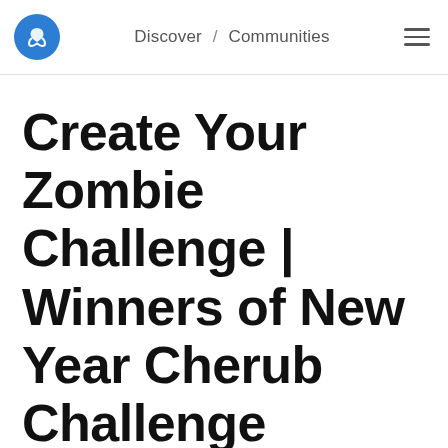Discover / Communities
Create Your Zombie Challenge | Winners of New Year Cherub Challenge
snook (73)
8 months ago
in #snookschallenge5